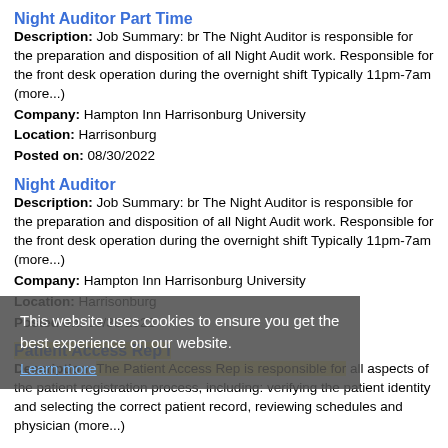Night Auditor Part Time
Description: Job Summary: br The Night Auditor is responsible for the preparation and disposition of all Night Audit work. Responsible for the front desk operation during the overnight shift Typically 11pm-7am (more...)
Company: Hampton Inn Harrisonburg University
Location: Harrisonburg
Posted on: 08/30/2022
Night Auditor
Description: Job Summary: br The Night Auditor is responsible for the preparation and disposition of all Night Audit work. Responsible for the front desk operation during the overnight shift Typically 11pm-7am (more...)
Company: Hampton Inn Harrisonburg University
Location: Harrisonburg
Posted on: 08/30/2022
This website uses cookies to ensure you get the best experience on our website. Learn more
Patient Access Rep I
Description: The Patient Access Rep is responsible for all aspects of the patient registration process, including: verifying the patient identity and selecting the correct patient record, reviewing schedules and physician (more...)